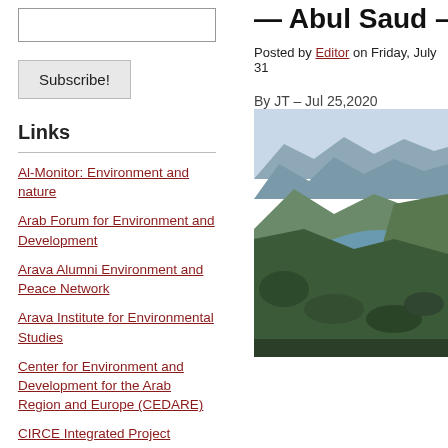[search box]
Subscribe!
Links
Al-Monitor: Environment and nature
Arab Forum for Environment and Development
Arava Alumni Environment and Peace Network
Arava Institute for Environmental Studies
Center for Environment and Development for the Arab Region and Europe (CEDARE)
CIRCE Integrated Project
EcoPeace
Eilat / Eilot Renewable Energy
Euro Mediterranean Information
— Abul Saud – J
Posted by Editor on Friday, July 31
By JT – Jul 25,2020
[Figure (photo): Aerial landscape photo showing a river or reservoir winding through hilly terrain with green vegetation and mountains in the background.]